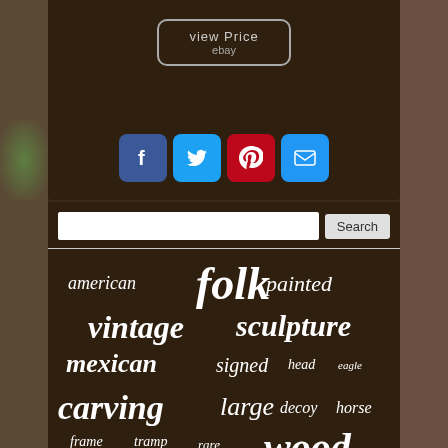[Figure (screenshot): eBay 'View Price' button with rounded rectangle border]
[Figure (infographic): Social media sharing icons: Facebook (blue), Twitter (light blue), Pinterest (red), Email (blue)]
[Figure (infographic): Search bar with text input and Search button]
american folk painted vintage sculpture mexican signed head eagle carving large decoy horse frame tramp rare wood